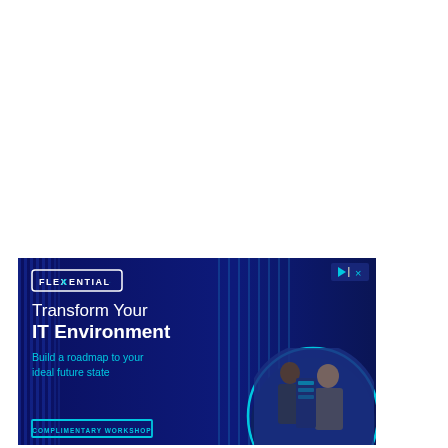[Figure (infographic): Flexential advertisement banner with dark blue data center background. Shows logo 'FLEXENTIAL' in white with border, headline 'Transform Your IT Environment' in white, subheadline 'Build a roadmap to your ideal future state' in cyan, a 'COMPLIMENTARY WORKSHOP' CTA button in cyan outline, and a circular photo of two IT professionals working in a data center on the right side.]